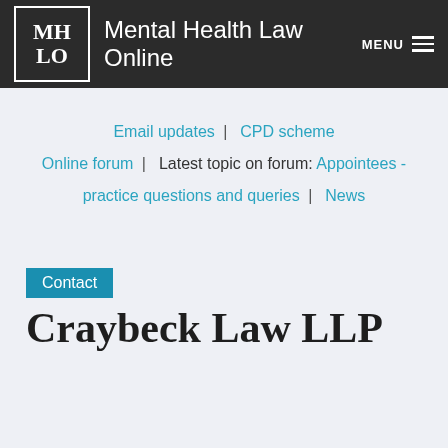Mental Health Law Online
Email updates | CPD scheme | Online forum | Latest topic on forum: Appointees - practice questions and queries | News
Contact
Craybeck Law LLP